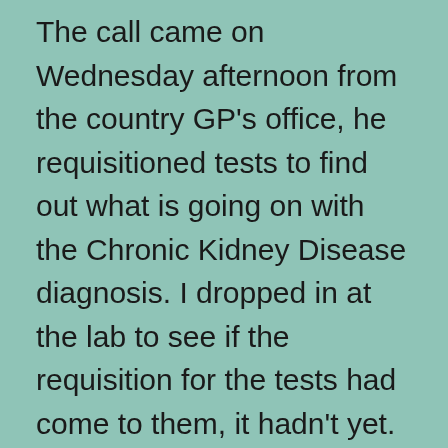The call came on Wednesday afternoon from the country GP's office, he requisitioned tests to find out what is going on with the Chronic Kidney Disease diagnosis. I dropped in at the lab to see if the requisition for the tests had come to them, it hadn't yet. It wasn't a worry though. At the local lab's suggestion I called the customer service number on Thursday morning. The requisition had indeed arrived at the central office, and was distributed to the labs immediately, I was good to go. Now I will wait for a call from the GP's office to let me know about his assessment of the test results. This GP is a real gem. I wish all of them had